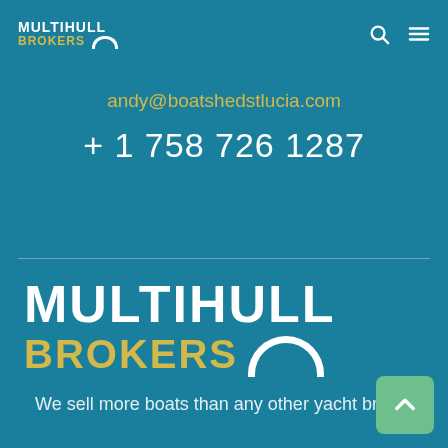[Figure (logo): Multihull Brokers logo - small version in header, white text MULTIHULL with gold BROKERS and white arch symbol]
andy@boatshedstlucia.com
+ 1 758 726 1287
[Figure (logo): Multihull Brokers large logo - white MULTIHULL text, gold BROKERS text, white arch symbol]
We sell more boats than any other yacht broker